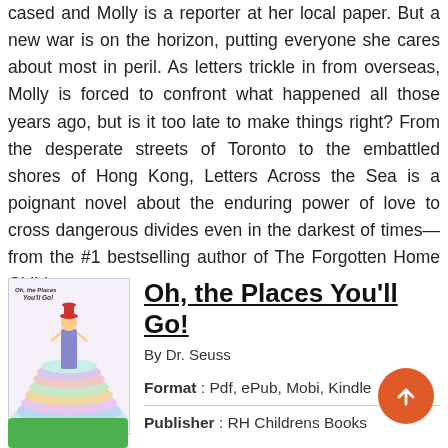cased and Molly is a reporter at her local paper. But a new war is on the horizon, putting everyone she cares about most in peril. As letters trickle in from overseas, Molly is forced to confront what happened all those years ago, but is it too late to make things right? From the desperate streets of Toronto to the embattled shores of Hong Kong, Letters Across the Sea is a poignant novel about the enduring power of love to cross dangerous divides even in the darkest of times—from the #1 bestselling author of The Forgotten Home Child.
[Figure (illustration): Book cover of 'Oh, the Places You'll Go!' by Dr. Seuss showing a colorful character on a swirling landscape]
Oh, the Places You'll Go!
By Dr. Seuss
Format : Pdf, ePub, Mobi, Kindle
Publisher : RH Childrens Books